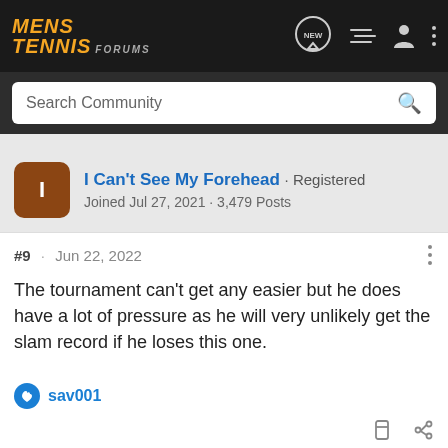MENS TENNIS FORUMS
Search Community
I Can't See My Forehead · Registered
Joined Jul 27, 2021 · 3,479 Posts
#9 · Jun 22, 2022
The tournament can't get any easier but he does have a lot of pressure as he will very unlikely get the slam record if he loses this one.
sav001